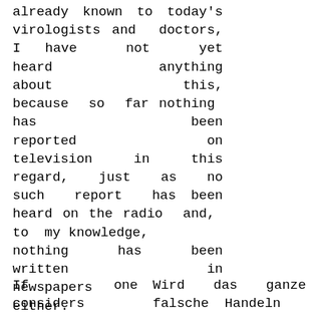already known to today's virologists and doctors, I have not yet heard anything about this, because so far nothing has been reported on television in this regard, just as no such report has been heard on the radio and, to my knowledge, nothing has been written in newspapers either.
If one considers
Wird das ganze falsche Handeln